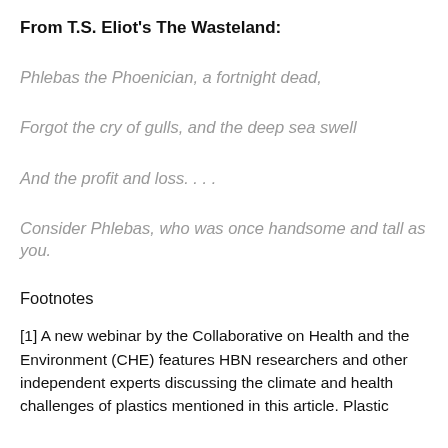From T.S. Eliot's The Wasteland:
Phlebas the Phoenician, a fortnight dead,
Forgot the cry of gulls, and the deep sea swell
And the profit and loss. . . .
Consider Phlebas, who was once handsome and tall as you.
Footnotes
[1] A new webinar by the Collaborative on Health and the Environment (CHE) features HBN researchers and other independent experts discussing the climate and health challenges of plastics mentioned in this article. Plastic